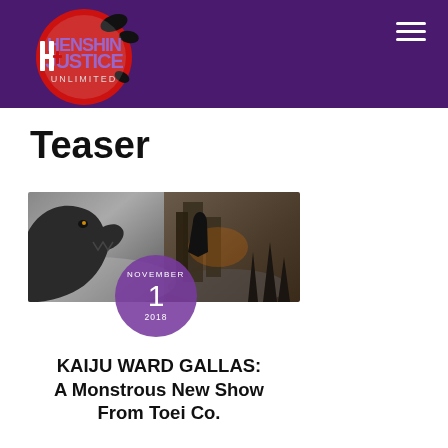Henshin Justice Unlimited
Teaser
[Figure (illustration): Fantasy/sci-fi artwork showing a large monster or dragon-like creature on the left side and a dark atmospheric forest or battle scene on the right, serving as article thumbnail image]
NOVEMBER 1 2018
KAIJU WARD GALLAS: A Monstrous New Show From Toei Co.